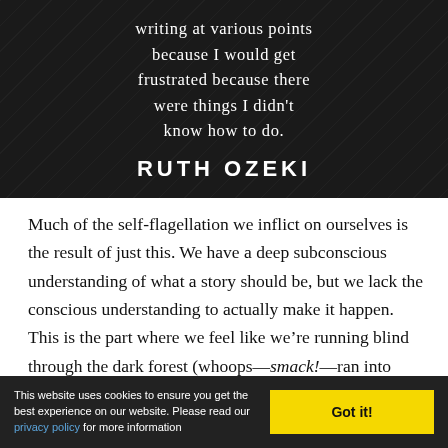[Figure (illustration): Dark background image with diagonal lines, showing a quote in white serif text and author name in bold white caps]
Much of the self-flagellation we inflict on ourselves is the result of just this. We have a deep subconscious understanding of what a story should be, but we lack the conscious understanding to actually make it happen. This is the part where we feel like we’re running blind through the dark forest (whoops—smack!—ran into another tree we didn’t even know was there).
This website uses cookies to ensure you get the best experience on our website. Please read our privacy policy for more information  Got it!